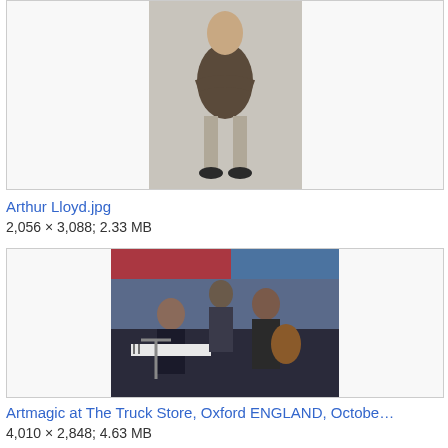[Figure (photo): Photo of Arthur Lloyd, a man in Victorian-era clothing with arms crossed]
Arthur Lloyd.jpg
2,056 × 3,088; 2.33 MB
[Figure (photo): Photo of Artmagic band performing at The Truck Store, Oxford ENGLAND]
Artmagic at The Truck Store, Oxford ENGLAND, Octobe…
4,010 × 2,848; 4.63 MB
[Figure (photo): Partial photo of a person's face, cropped at bottom of page]